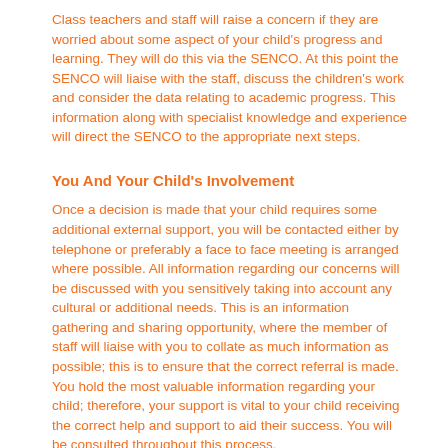Class teachers and staff will raise a concern if they are worried about some aspect of your child's progress and learning. They will do this via the SENCO. At this point the SENCO will liaise with the staff, discuss the children's work and consider the data relating to academic progress. This information along with specialist knowledge and experience will direct the SENCO to the appropriate next steps.
You And Your Child's Involvement
Once a decision is made that your child requires some additional external support, you will be contacted either by telephone or preferably a face to face meeting is arranged where possible. All information regarding our concerns will be discussed with you sensitively taking into account any cultural or additional needs. This is an information gathering and sharing opportunity, where the member of staff will liaise with you to collate as much information as possible; this is to ensure that the correct referral is made. You hold the most valuable information regarding your child; therefore, your support is vital to your child receiving the correct help and support to aid their success. You will be consulted throughout this process.
Where appropriate, depending on their age and ability, your child may